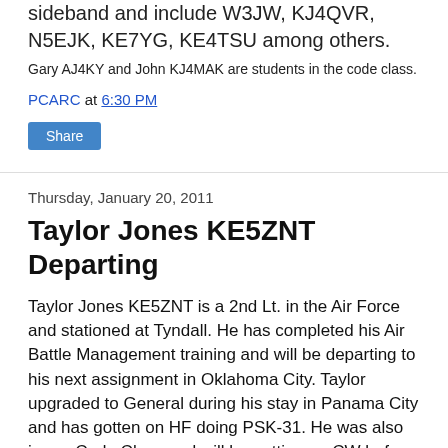sideband and include W3JW, KJ4QVR, N5EJK, KE7YG, KE4TSU among others. Gary AJ4KY and John KJ4MAK are students in the code class.
PCARC at 6:30 PM
Share
Thursday, January 20, 2011
Taylor Jones KE5ZNT Departing
Taylor Jones KE5ZNT is a 2nd Lt. in the Air Force and stationed at Tyndall. He has completed his Air Battle Management training and will be departing to his next assignment in Oklahoma City. Taylor upgraded to General during his stay in Panama City and has gotten on HF doing PSK-31. He was also in our Code Class and will be getting on CW before long. We wish Taylor well on his future assignments and expect to hear him on the air.
Greg